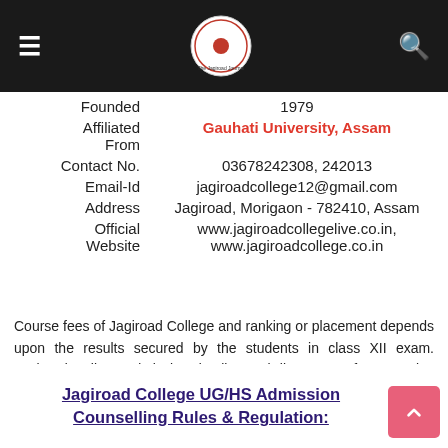Jagiroad College — navigation header with logo
| Field | Value |
| --- | --- |
| Founded | 1979 |
| Affiliated From | Gauhati University, Assam |
| Contact No. | 03678242308, 242013 |
| Email-Id | jagiroadcollege12@gmail.com |
| Address | Jagiroad, Morigaon - 782410, Assam |
| Official Website | www.jagiroadcollegelive.co.in, www.jagiroadcollege.co.in |
Course fees of Jagiroad College and ranking or placement depends upon the results secured by the students in class XII exam. Jagiroad College admission details, merit list, course fees, results, admit card, document verification info, counselling details and subject combination are made available through: www.jagiroadcollege.co.in, official website.
Jagiroad College UG/HS Admission Counselling Rules & Regulation: